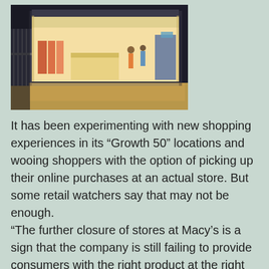[Figure (photo): Exterior view of a retail clothing store at night, with bright interior lighting showing clothing displays and shoppers inside. Metal fence/gate visible on left side.]
It has been experimenting with new shopping experiences in its “Growth 50” locations and wooing shoppers with the option of picking up their online purchases at an actual store. But some retail watchers say that may not be enough. “The further closure of stores at Macy’s is a sign that the company is still failing to provide consumers with the right product at the right price.” Neil Saunders, managing director of the